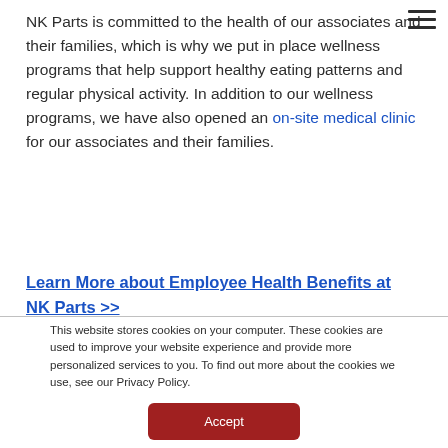NK Parts is committed to the health of our associates and their families, which is why we put in place wellness programs that help support healthy eating patterns and regular physical activity. In addition to our wellness programs, we have also opened an on-site medical clinic for our associates and their families.
Learn More about Employee Health Benefits at NK Parts >>
This website stores cookies on your computer. These cookies are used to improve your website experience and provide more personalized services to you. To find out more about the cookies we use, see our Privacy Policy.
Accept